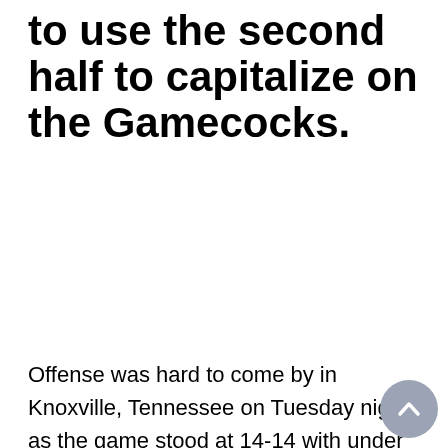to use the second half to capitalize on the Gamecocks.
Offense was hard to come by in Knoxville, Tennessee on Tuesday night, as the game stood at 14-14 with under nine minutes to play in the first half. Despite the cold start from the field, the Volunteers managed to outscore the Gamecocks by 14 in the second half in a 66-46 win. Santiago Vescovi managed 14 points for Rick Barnes's team and freshman Zakai Ziegler added 11 points and 4 assists. James Reese was the high-scorer for Carolina, scoring 15 in the losing effort. The win moves the Volunteers